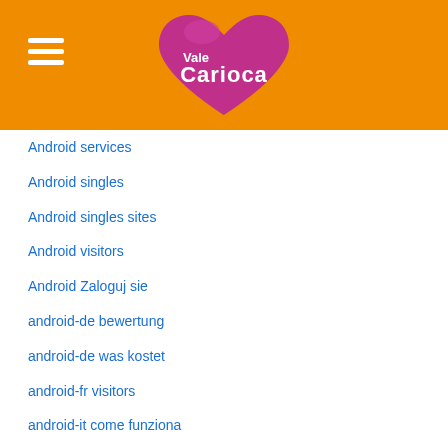[Figure (logo): Vale Carioca logo - pink heart shape with white text 'Vale Carioca' on orange background header]
Android services
Android singles
Android singles sites
Android visitors
Android Zaloguj sie
android-de bewertung
android-de was kostet
android-fr visitors
android-it come funziona
android-pl randki
angelreturn cz seznamka
angelreturn dating
angelreturn de review
angelreturn de reviews